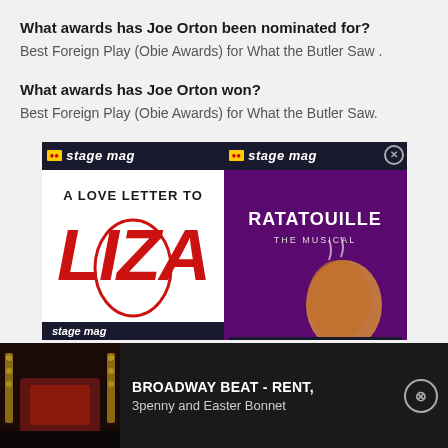What awards has Joe Orton been nominated for?
Best Foreign Play (Obie Awards) for What the Butler Saw .
What awards has Joe Orton won?
Best Foreign Play (Obie Awards) for What the Butler Saw.
[Figure (screenshot): Advertisement banner for Stage Mag showing two show posters: 'A Love Letter to Liza' on left (white background with red illustrated figure) and 'Ratatouille The Musical' on right (purple background with ratatouille imagery). Each panel has a Stage Mag header logo.]
[Figure (screenshot): Video player bar at bottom showing a theatre interior thumbnail with play button, title 'BROADWAY BEAT - RENT, 3penny and Easter Bonnet', and a close button.]